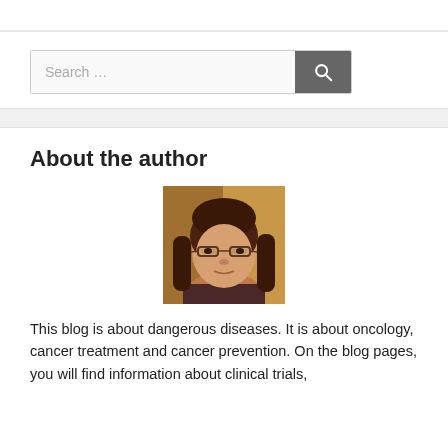Search …
About the author
[Figure (photo): Portrait photo of a woman with long brown hair, glasses, wearing a dark top, looking at the camera against a warm blurred background.]
This blog is about dangerous diseases. It is about oncology, cancer treatment and cancer prevention. On the blog pages, you will find information about clinical trials,